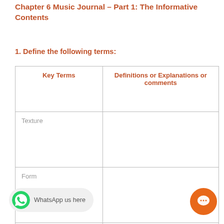Chapter 6 Music Journal – Part 1: The Informative Contents
1. Define the following terms:
| Key Terms | Definitions or Explanations or comments |
| --- | --- |
| Texture |  |
| Form |  |
| Single-line texture |  |